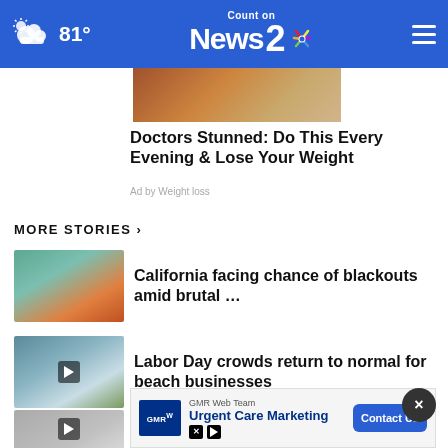81° Count on News 2
[Figure (photo): Partial image of food/grain — advertisement image]
Doctors Stunned: Do This Every Evening & Lose Your Weight
Ad by Weight loss
MORE STORIES ›
California facing chance of blackouts amid brutal …
Labor Day crowds return to normal for beach businesses
Boating safety tips from the
Charleston Councilman says
[Figure (screenshot): GMR Web Team advertisement overlay: Urgent Care Marketing — Contact Us button]